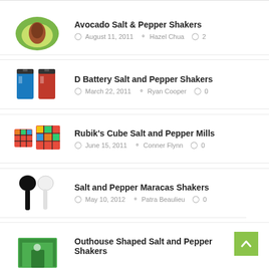Avocado Salt & Pepper Shakers — August 11, 2011 — Hazel Chua — 2 comments
D Battery Salt and Pepper Shakers — March 22, 2011 — Ryan Cooper — 0 comments
Rubik's Cube Salt and Pepper Mills — June 15, 2011 — Conner Flynn — 0 comments
Salt and Pepper Maracas Shakers — May 10, 2012 — Patra Beaulieu — 0 comments
Outhouse Shaped Salt and Pepper Shakers